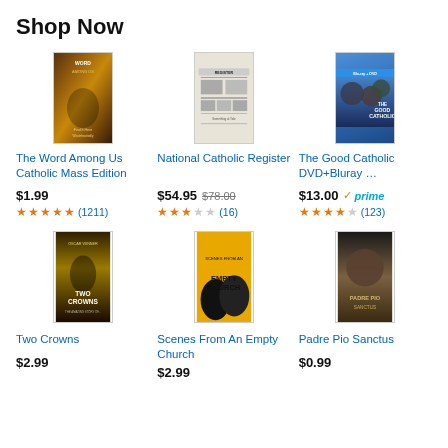Shop Now
[Figure (photo): Book cover: The Word Among Us Catholic Mass Edition]
The Word Among Us Catholic Mass Edition
$1.99
★★★★★ (1211)
[Figure (photo): Newspaper cover: National Catholic Register]
National Catholic Register
$54.95 $78.00
★★★☆☆ (16)
[Figure (photo): DVD+Bluray cover: The Good Catholic]
The Good Catholic DVD+Bluray …
$13.00 ✓prime
★★★★☆ (123)
[Figure (photo): Movie cover: Two Crowns]
Two Crowns
$2.99
[Figure (photo): Movie cover: Scenes From An Empty Church]
Scenes From An Empty Church
$2.99
[Figure (photo): Movie cover: Padre Pio Sanctus]
Padre Pio Sanctus
$0.99